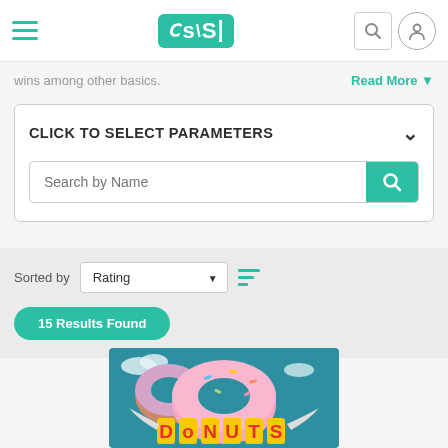Header navigation with logo (OSSI), search icon, and user icon
wins among other basics.
Read More ▼
CLICK TO SELECT PARAMETERS
Search by Name
Sorted by: Rating | 15 Results Found
[Figure (screenshot): Donuts slot game promotional image with large pink frosted donut and the word DONUTS in yellow block letters on a teal background]